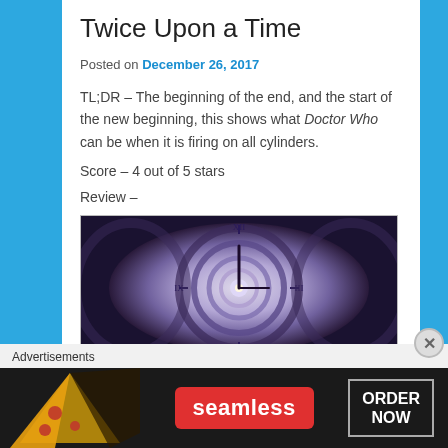Twice Upon a Time
Posted on December 26, 2017
TL;DR – The beginning of the end, and the start of the new beginning, this shows what Doctor Who can be when it is firing on all cylinders.
Score – 4 out of 5 stars
Review –
[Figure (photo): Spiral clock image showing multiple clock faces in a spiraling pattern with Roman numerals]
Advertisements
[Figure (photo): Seamless food delivery advertisement banner with pizza image, Seamless red logo, and ORDER NOW button]